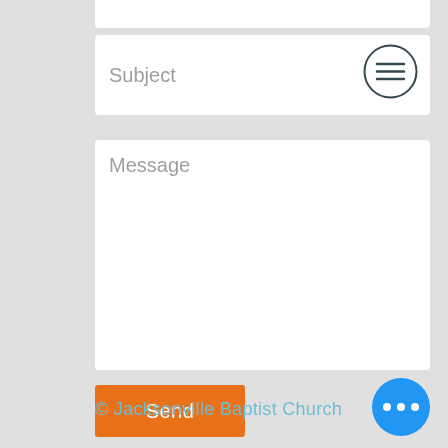Subject
Message
Send
© Jacksonville Baptist Church